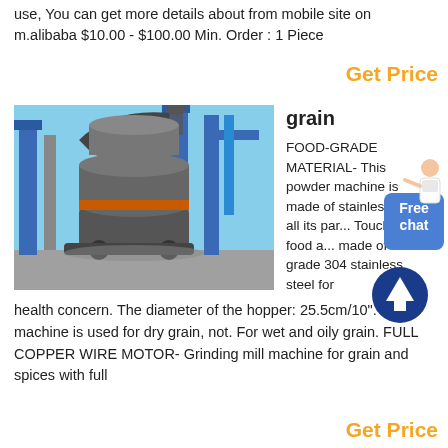use, You can get more details about from mobile site on m.alibaba $10.00 - $100.00 Min. Order : 1 Piece
Get Price
[Figure (photo): Industrial grinding mill machine with cylindrical grey body, pipes, and blue structural framework outdoors]
grain
FOOD-GRADE MATERIAL- This powder machine is made of stainless steel, all its par... Touching food a... made of food-grade 304 stainless steel for health concern. The diameter of the hopper: 25.5cm/10". This machine is used for dry grain, not. For wet and oily grain. FULL COPPER WIRE MOTOR- Grinding mill machine for grain and spices with full
Get Price